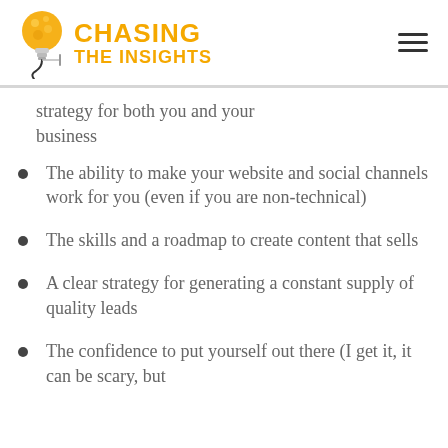Chasing The Insights
strategy for both you and your business
The ability to make your website and social channels work for you (even if you are non-technical)
The skills and a roadmap to create content that sells
A clear strategy for generating a constant supply of quality leads
The confidence to put yourself out there (I get it, it can be scary, but